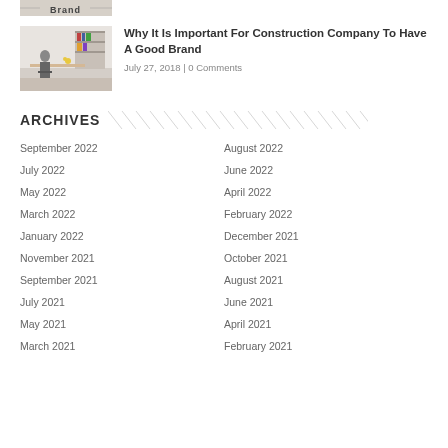[Figure (photo): Partial view of a cropped image at top of page showing 'Brand' text logo]
[Figure (photo): Office workspace photo showing a person sitting at a desk with bookshelves in background]
Why It Is Important For Construction Company To Have A Good Brand
July 27, 2018 | 0 Comments
ARCHIVES
September 2022
August 2022
July 2022
June 2022
May 2022
April 2022
March 2022
February 2022
January 2022
December 2021
November 2021
October 2021
September 2021
August 2021
July 2021
June 2021
May 2021
April 2021
March 2021
February 2021